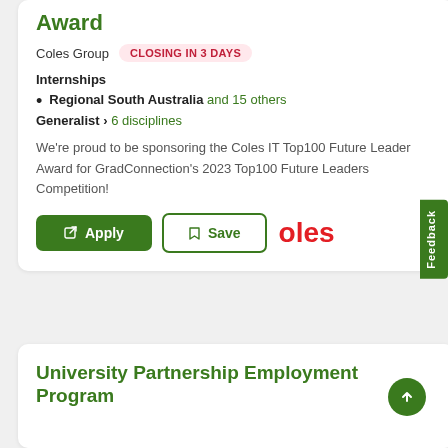Award
Coles Group   CLOSING IN 3 DAYS
Internships
Regional South Australia and 15 others
Generalist › 6 disciplines
We're proud to be sponsoring the Coles IT Top100 Future Leader Award for GradConnection's 2023 Top100 Future Leaders Competition!
University Partnership Employment Program